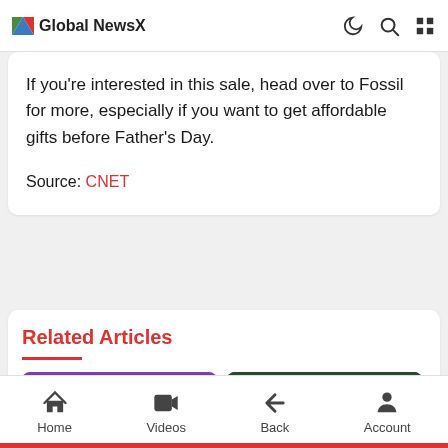Global NewsX
If you’re interested in this sale, head over to Fossil for more, especially if you want to get affordable gifts before Father’s Day.
Source: CNET
Related Articles
[Figure (photo): Thumbnail image with purple background showing a phone]
[Figure (photo): Thumbnail image with dark green background]
Home  Videos  Back  Account